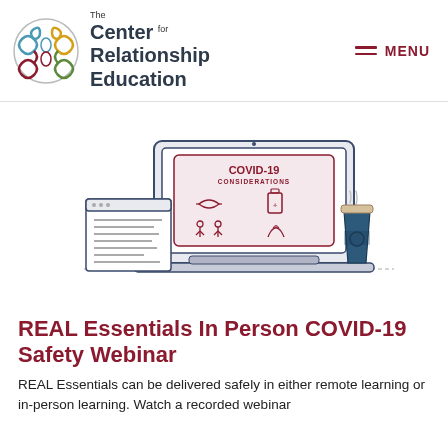The Center for Relationship Education
[Figure (illustration): Illustration of a laptop showing a screen with 'COVID-19 CONSIDERATIONS' with icons of a face mask, hand sanitizer, social distancing figures, and handwashing. A browser window and a coffee cup are shown beside the laptop.]
REAL Essentials In Person COVID-19 Safety Webinar
REAL Essentials can be delivered safely in either remote learning or in-person learning. Watch a recorded webinar